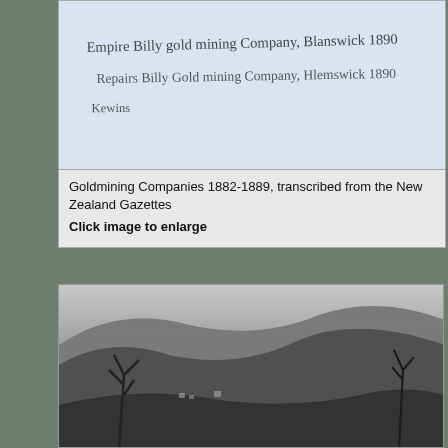[Figure (photo): Handwritten document showing text about a goldmining company, on blue-tinted paper background]
Goldmining Companies 1882-1889, transcribed from the New Zealand Gazettes
Click image to enlarge
In August 1863, the Marlborough Provincial Council offered bonuses for the discovery of gold and coal in the financially struggling province.  In April 1864, John Wilson, Joshua and George Rutland and Hirram Harris, found an encouraging amount of gold at Wilson's Beach beside the Wakamarina River.³
[Figure (photo): Black and white historical photograph of a hillside landscape, likely showing the Wakamarina River area or gold mining settlement]